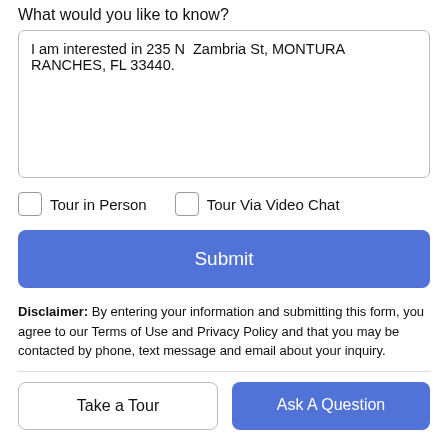What would you like to know?
I am interested in 235 N  Zambria St, MONTURA RANCHES, FL 33440.
Tour in Person
Tour Via Video Chat
Submit
Disclaimer: By entering your information and submitting this form, you agree to our Terms of Use and Privacy Policy and that you may be contacted by phone, text message and email about your inquiry.
Take a Tour
Ask A Question